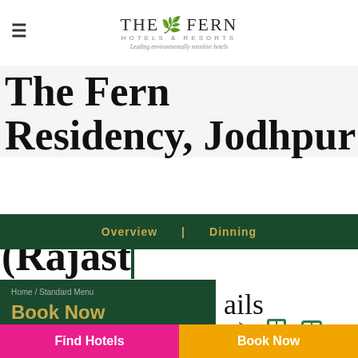The Fern Hotels & Resorts — Leading environmentally sensitive hotels
The Fern Residency, Jodhpur (Rajasthan)
Overview | Dinning
Home / Standard Menu
Book Now
CHECK IN
2022-08-28
ails
7 km  1 km  2 km
Find Hotels
Book Now